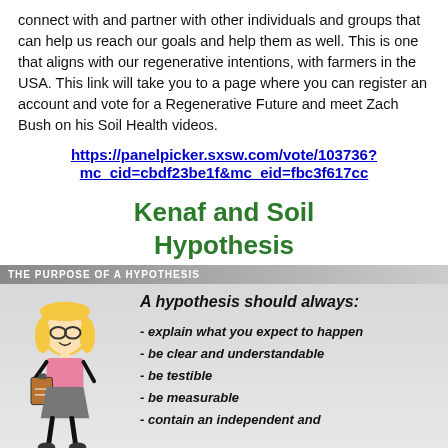connect with and partner with other individuals and groups that can help us reach our goals and help them as well. This is one that aligns with our regenerative intentions, with farmers in the USA. This link will take you to a page where you can register an account and vote for a Regenerative Future and meet Zach Bush on his Soil Health videos.
https://panelpicker.sxsw.com/vote/103736?mc_cid=cbdf23be1f&mc_eid=fbc3f617cc
Kenaf and Soil Hypothesis
[Figure (infographic): Infographic titled 'The Purpose of a Hypothesis' showing a cartoon girl holding a clipboard on the left, and on the right text reading 'A hypothesis should always:' followed by bullet points: - explain what you expect to happen, - be clear and understandable, - be testible, - be measurable, - contain an independent and]